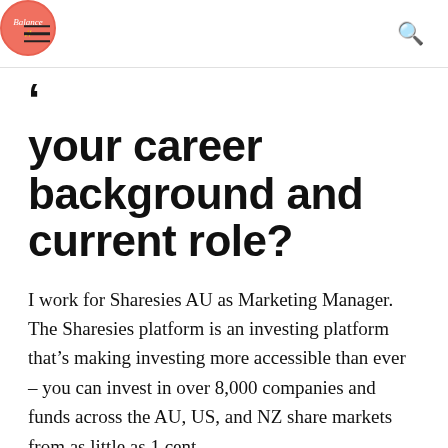Balance [logo]
your career background and current role?
I work for Sharesies AU as Marketing Manager. The Sharesies platform is an investing platform that's making investing more accessible than ever – you can invest in over 8,000 companies and funds across the AU, US, and NZ share markets from as little as 1 cent.
The platform was made accessible to